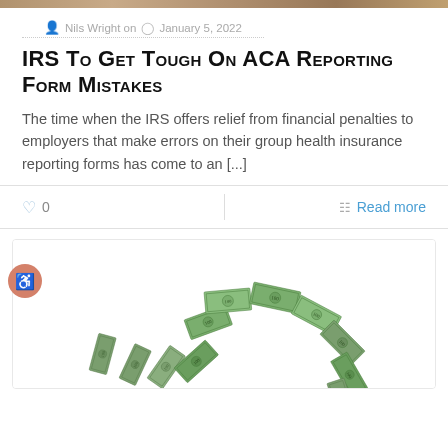[Figure (photo): Top image strip - partial photo visible at top of page]
Nils Wright on  January 5, 2022
IRS to Get Tough on ACA Reporting Form Mistakes
The time when the IRS offers relief from financial penalties to employers that make errors on their group health insurance reporting forms has come to an [...]
0
Read more
[Figure (illustration): Illustration of scattered US dollar bills arranged in an arc/spiral pattern on white background]